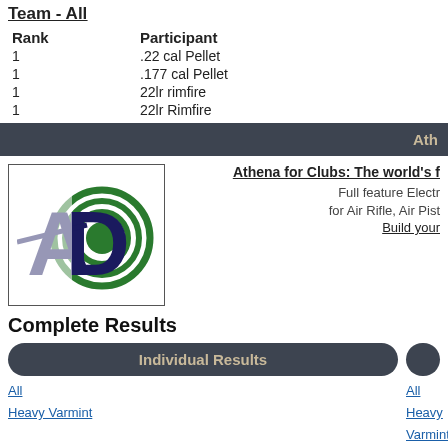Team - All
| Rank | Participant |
| --- | --- |
| 1 | .22 cal Pellet |
| 1 | .177 cal Pellet |
| 1 | 22lr rimfire |
| 1 | 22lr Rimfire |
Ath
[Figure (logo): Athena logo - letter A and D combined with target rings, dark blue and green]
Athena for Clubs: The world's f
Full feature Electr for Air Rifle, Air Pist
Build your
Complete Results
Individual Results
All
Heavy Varmint
All
Heavy Varmint